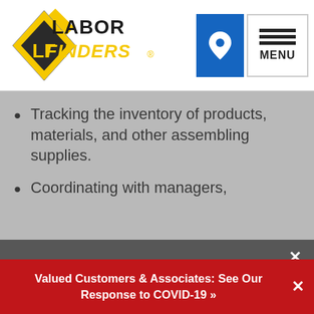[Figure (logo): Labor Finders logo with diamond LF icon and yellow/black LABOR FINDERS text]
Tracking the inventory of products, materials, and other assembling supplies.
Coordinating with managers,
We use cookies to improve user experience and to analyze website traffic. For these reasons, we may share your site usage data with our analytics and advertising partners. By continuing to use the site, you consent to store on your device all the technologies described in our Cookie Policy. You can change your cookie settings at any time by clicking "Cookie Preferences" in your browser settings. Please read our Terms and Conditions and Privacy Policy for full details.
Valued Customers & Associates: See Our Response to COVID-19 »